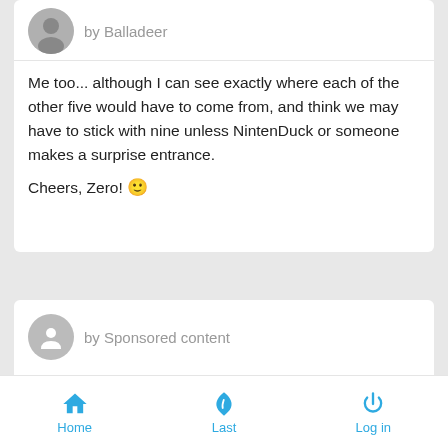by Balladeer
Me too... although I can see exactly where each of the other five would have to come from, and think we may have to stick with nine unless NintenDuck or someone makes a surprise entrance.

Cheers, Zero! 🙂
by Sponsored content
Fri 2 Mar 2018 - 20:11
by masofdas
Home  Last  Log in